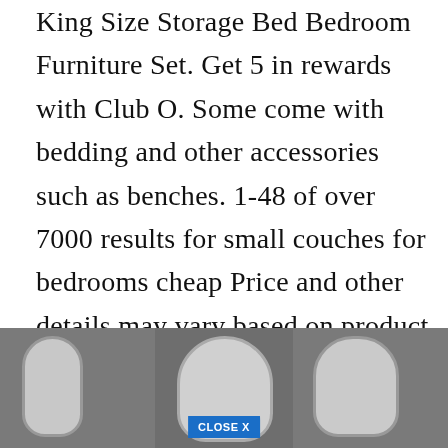King Size Storage Bed Bedroom Furniture Set. Get 5 in rewards with Club O. Some come with bedding and other accessories such as benches. 1-48 of over 7000 results for small couches for bedrooms cheap Price and other details may vary based on product size and color. These come with a desk with several drawers a mirror and either a bench or high-back chair.
[Figure (photo): A screenshot of a bedroom furniture advertisement showing three arched/oval mirrors displayed against a gray wall background, with a 'CLOSE X' button overlaid in blue at the bottom center.]